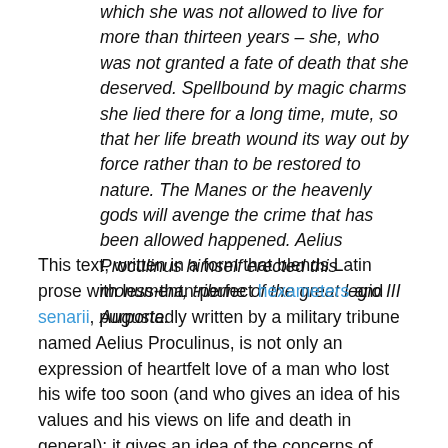which she was not allowed to live for more than thirteen years – she, who was not granted a fate of death that she deserved. Spellbound by magic charms she lied there for a long time, mute, so that her life breath wound its way out by force rather than to be restored to nature. The Manes or the heavenly gods will avenge the crime that has been allowed happened. Aelius Proculinus himself erected this monument, tribune of the great legio III Augusta.
This text, written in a form that blends Latin prose with less-than-perfect hexameters and senarii, purportedly written by a military tribune named Aelius Proculinus, is not only an expression of heartfelt love of a man who lost his wife too soon (and who gives an idea of his values and his views on life and death in general): it gives an idea of the concerns of Roman(ised) people in second and third